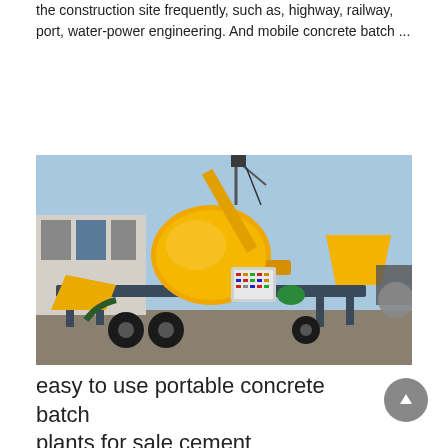the construction site frequently, such as, highway, railway, port, water-power engineering. And mobile concrete batch ...
Learn More
[Figure (photo): A yellow mobile concrete batch plant on a wheeled frame with mixing drum, control panel, conveyor arm, and aggregate hopper, parked outdoors on a construction yard.]
easy to use portable concrete batch plants for sale cement